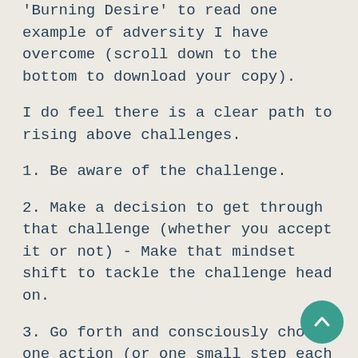'Burning Desire' to read one example of adversity I have overcome (scroll down to the bottom to download your copy).
I do feel there is a clear path to rising above challenges.
1. Be aware of the challenge.
2. Make a decision to get through that challenge (whether you accept it or not) - Make that mindset shift to tackle the challenge head on.
3. Go forth and consciously choose one action (or one small step each day) towards overcoming the challenge.
For example, when I had endometriosis riddled throughout my body, had mutiple surgeries was given 5 years to live when I first consulted one of my specialists but I